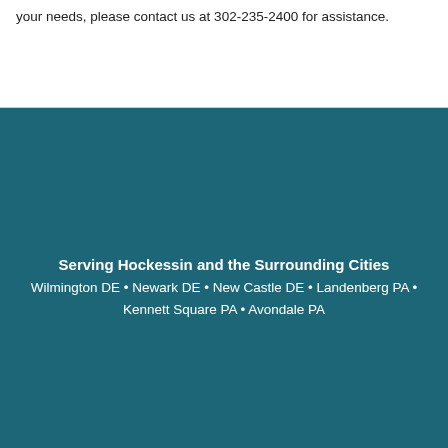your needs, please contact us at 302-235-2400 for assistance.
Serving Hockessin and the Surrounding Cities
Wilmington DE • Newark DE • New Castle DE • Landenberg PA • Kennett Square PA • Avondale PA
DISCLAIMER
[Figure (illustration): Accessibility icon button - circular black button with white wheelchair accessibility symbol]